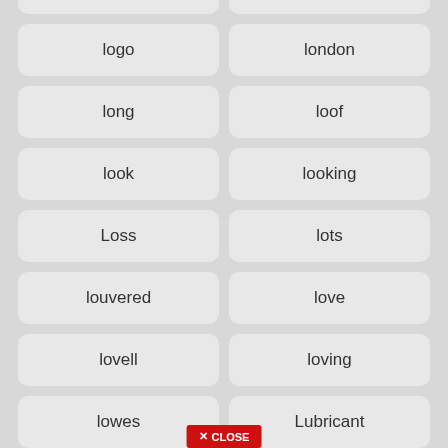loft
logging
logo
london
long
loof
look
looking
Loss
lots
louvered
love
lovell
loving
lowes
Lubricant
lucille
luck
lucy
luggage